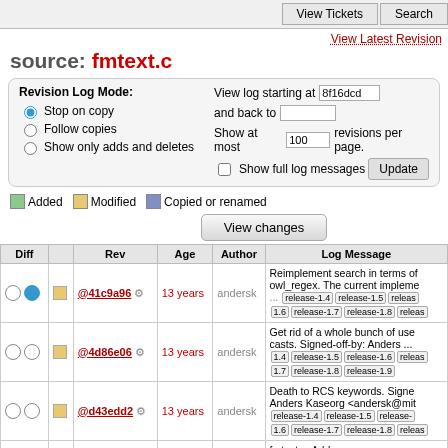View Tickets | Search
View Latest Revision
source: fmtext.c
Revision Log Mode: Stop on copy / Follow copies / Show only adds and deletes. View log starting at 8f16dcd and back to. Show at most 100 revisions per page. Show full log messages. Update.
Added  Modified  Copied or renamed
View changes
| Diff |  | Rev | Age | Author | Log Message |
| --- | --- | --- | --- | --- | --- |
| ○ ● | □ | @41c9a96 | 13 years | andersk | Reimplement search in terms of owl_regex. The current impleme... release-1.4 release-1.5 release-1.6 release-1.7 release-1.8 releas |
| ○ ○ | □ | @4d86e06 | 13 years | andersk | Get rid of a whole bunch of useless casts. Signed-off-by: Anders ... 1.4 release-1.5 release-1.6 release-1.7 release-1.8 release-1.9 |
| ○ ○ | □ | @d43edd2 | 13 years | andersk | Death to RCS keywords. Signed Anders Kaseorg <andersk@mit release-1.4 release-1.5 release-1.6 release-1.7 release-1.8 releas |
| ○ ○ | □ | @1490327 | 14 years | nelhage | fmtext.c: Add owl_fmtext_appendf_normal. debian release-1.4 release-1.5 release-1.6 release-1.7 release-1.8 |